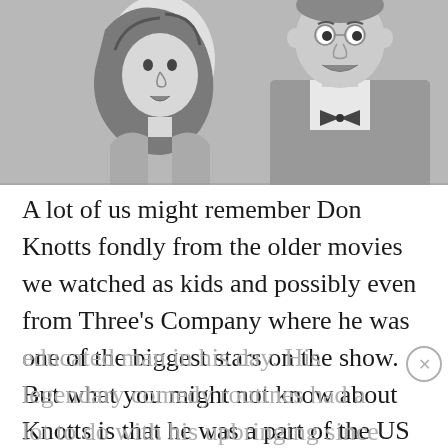[Figure (photo): Black and white photo of a woman (illustrated/drawn style on left) and a man in a bow tie and suit jacket (Don Knotts) appearing to be in conversation or a comedic scene.]
A lot of us might remember Don Knotts fondly from the older movies we watched as kids and possibly even from Three’s Company where he was one of the biggest stars on the show. But what you might not know about Knotts is that he was a part of the US Army in WWII and he was quite the educated man in his day. His legendary comedy routines had a lot to do with his upbringing since he had to deal with a father that was schizophrenic and threatened him at times with a knife thereby